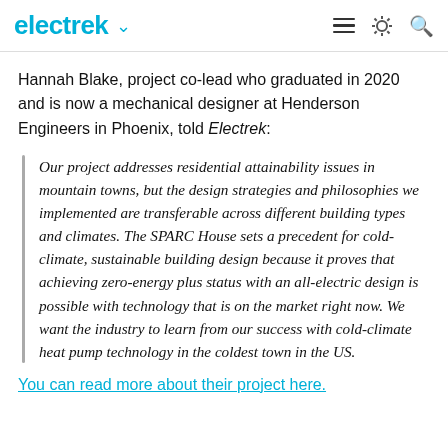electrek
Hannah Blake, project co-lead who graduated in 2020 and is now a mechanical designer at Henderson Engineers in Phoenix, told Electrek:
Our project addresses residential attainability issues in mountain towns, but the design strategies and philosophies we implemented are transferable across different building types and climates. The SPARC House sets a precedent for cold-climate, sustainable building design because it proves that achieving zero-energy plus status with an all-electric design is possible with technology that is on the market right now. We want the industry to learn from our success with cold-climate heat pump technology in the coldest town in the US.
You can read more about their project here.